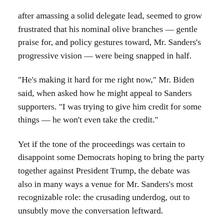after amassing a solid delegate lead, seemed to grow frustrated that his nominal olive branches — gentle praise for, and policy gestures toward, Mr. Sanders's progressive vision — were being snapped in half.
“He’s making it hard for me right now,” Mr. Biden said, when asked how he might appeal to Sanders supporters. “I was trying to give him credit for some things — he won’t even take the credit.”
Yet if the tone of the proceedings was certain to disappoint some Democrats hoping to bring the party together against President Trump, the debate was also in many ways a venue for Mr. Sanders’s most recognizable role: the crusading underdog, out to unsubtly move the conversation leftward.